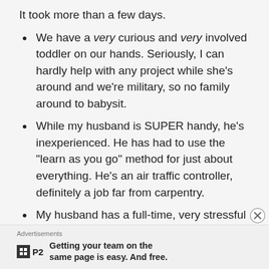It took more than a few days.
We have a very curious and very involved toddler on our hands. Seriously, I can hardly help with any project while she’s around and we’re military, so no family around to babysit.
While my husband is SUPER handy, he’s inexperienced. He has had to use the “learn as you go” method for just about everything. He’s an air traffic controller, definitely a job far from carpentry.
My husband has a full-time, very stressful job. There are many days the RV renovation just has
Advertisements
[Figure (logo): P2 advertisement logo with grid icon and text: Getting your team on the same page is easy. And free.]